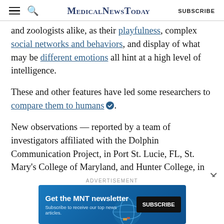MedicalNewsToday | SUBSCRIBE
and zoologists alike, as their playfulness, complex social networks and behaviors, and display of what may be different emotions all hint at a high level of intelligence.
These and other features have led some researchers to compare them to humans.
New observations — reported by a team of investigators affiliated with the Dolphin Communication Project, in Port St. Lucie, FL, St. Mary's College of Maryland, and Hunter College, in New York — now suggest that dolphins may resemble humans in yet another way...
ADVERTISEMENT
[Figure (other): MNT newsletter advertisement banner: 'Get the MNT newsletter — Subscribe to receive our top news articles.' with a SUBSCRIBE button]